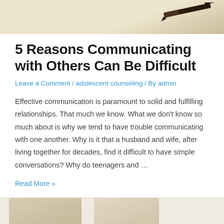[Figure (photo): Top portion of a photo showing a pen resting on aged/yellowed paper, cropped at the top of the page]
5 Reasons Communicating with Others Can Be Difficult
Leave a Comment / adolescent counseling / By admin
Effective communication is paramount to solid and fulfilling relationships. That much we know. What we don't know so much about is why we tend to have trouble communicating with one another. Why is it that a husband and wife, after living together for decades, find it difficult to have simple conversations? Why do teenagers and …
Read More »
[Figure (photo): Bottom portion of the page showing the top of another image, partially cropped, appearing to show people]